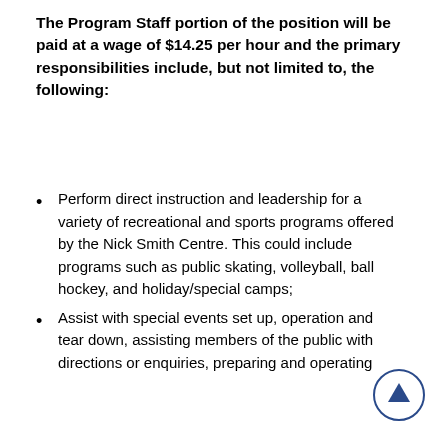The Program Staff portion of the position will be paid at a wage of $14.25 per hour and the primary responsibilities include, but not limited to, the following:
Perform direct instruction and leadership for a variety of recreational and sports programs offered by the Nick Smith Centre. This could include programs such as public skating, volleyball, ball hockey, and holiday/special camps;
Assist with special events set up, operation and tear down, assisting members of the public with directions or enquiries, preparing and operating